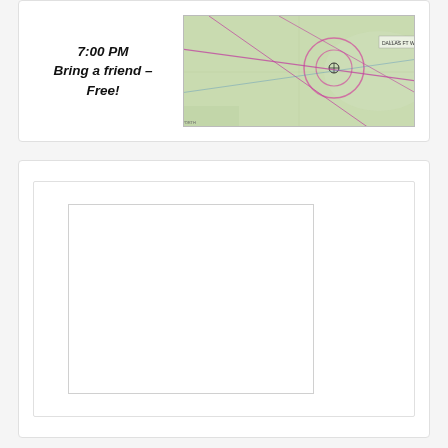7:00 PM
Bring a friend – Free!
[Figure (map): Aerial/sectional aviation map showing airport area with pink/magenta lines indicating flight paths or airspace boundaries over a green terrain background]
[Figure (other): Large white blank content area inside a card, with inner white rectangle — appears to be a placeholder or embedded content area]